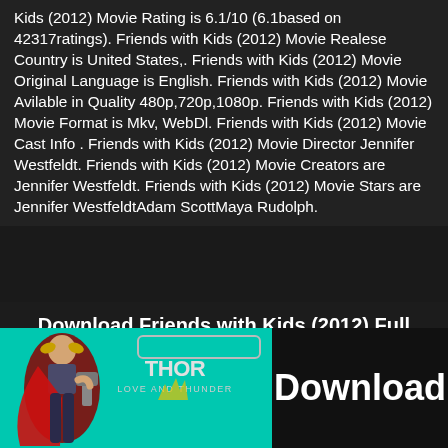Kids (2012) Movie Rating is 6.1/10 (6.1based on 42317ratings). Friends with Kids (2012) Movie Realese Country is United States,. Friends with Kids (2012) Movie Original Language is English. Friends with Kids (2012) Movie Avilable in Quality 480p,720p,1080p. Friends with Kids (2012) Movie Format is Mkv, WebDl. Friends with Kids (2012) Movie Cast Info . Friends with Kids (2012) Movie Director Jennifer Westfeldt. Friends with Kids (2012) Movie Creators are Jennifer Westfeldt. Friends with Kids (2012) Movie Stars are Jennifer WestfeldtAdam ScottMaya Rudolph.
Download Friends with Kids (2012) Full Movie in 480p 720p 1080p – OpProvider.com
[Figure (illustration): Advertisement banner with teal/cyan background showing Thor Love and Thunder movie promotion with a Thor figure on the left, Thor Love and Thunder logo in the center, and a black Download button on the right]